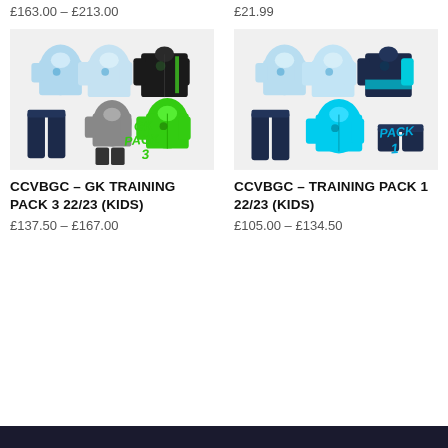£163.00 – £213.00
£21.99
[Figure (photo): CCVBGC GK Training Pack 3 22/23 (Kids) — goalkeeper kit showing light blue shirts, black/green jacket, navy trousers, grey/green goalkeeper set; labelled 'GK PACK 3' in green graffiti text]
[Figure (photo): CCVBGC Training Pack 1 22/23 (Kids) — light blue shirts, cyan jacket, navy trousers, navy shorts set; labelled 'PACK 1' in cyan graffiti text]
CCVBGC – GK TRAINING PACK 3 22/23 (KIDS)
CCVBGC – TRAINING PACK 1 22/23 (KIDS)
£137.50 – £167.00
£105.00 – £134.50